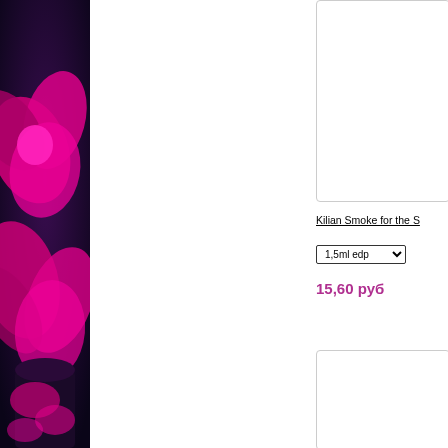[Figure (photo): Dark background with pink/magenta flower and decorative object against deep purple/dark blue background — product display photo strip on left side]
[Figure (photo): White product card box (top), partially visible, showing empty white area with grey border]
Kilian Smoke for the S
1,5ml edp
15,60 руб
[Figure (photo): White product card box (bottom), partially visible, showing empty white area with grey border]